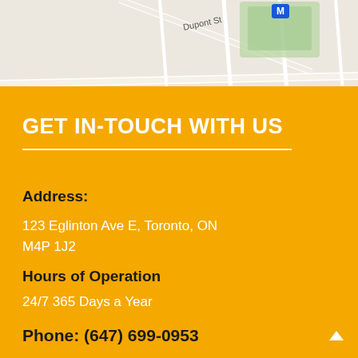[Figure (map): Street map showing Dupont St and Davenport Rd area in Toronto with a metro/subway marker icon]
GET IN-TOUCH WITH US
Address:
123 Eglinton Ave E, Toronto, ON M4P 1J2
Hours of Operation
24/7 365 Days a Year
Phone:  (647) 699-0953